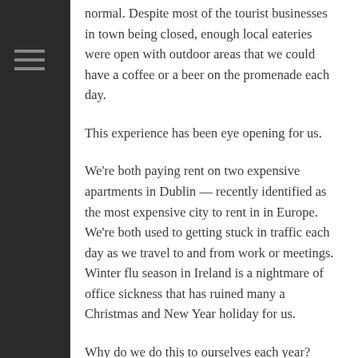normal. Despite most of the tourist businesses in town being closed, enough local eateries were open with outdoor areas that we could have a coffee or a beer on the promenade each day.
This experience has been eye opening for us.
We're both paying rent on two expensive apartments in Dublin — recently identified as the most expensive city to rent in in Europe. We're both used to getting stuck in traffic each day as we travel to and from work or meetings. Winter flu season in Ireland is a nightmare of office sickness that has ruined many a Christmas and New Year holiday for us.
Why do we do this to ourselves each year?